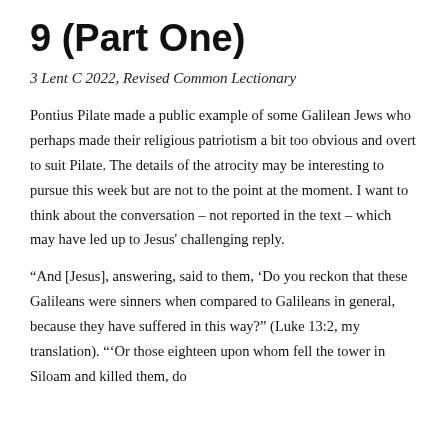9 (Part One)
3 Lent C 2022, Revised Common Lectionary
Pontius Pilate made a public example of some Galilean Jews who perhaps made their religious patriotism a bit too obvious and overt to suit Pilate. The details of the atrocity may be interesting to pursue this week but are not to the point at the moment. I want to think about the conversation – not reported in the text – which may have led up to Jesus' challenging reply.
“And [Jesus], answering, said to them, ‘Do you reckon that these Galileans were sinners when compared to Galileans in general, because they have suffered in this way?” (Luke 13:2, my translation). “‘Or those eighteen upon whom fell the tower in Siloam and killed them, do